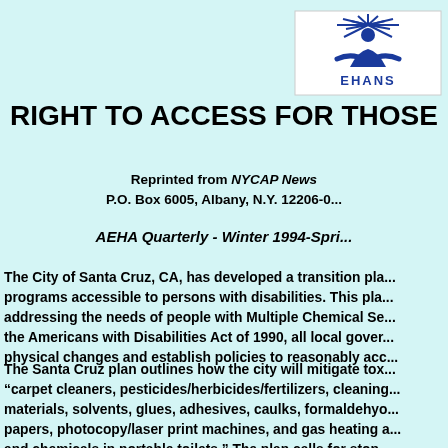[Figure (logo): EHANS logo: blue figure with radiating lines above, text EHANS below, in white bordered box]
RIGHT TO ACCESS FOR THOSE
Reprinted from NYCAP News
P.O. Box 6005, Albany, N.Y. 12206-0...
AEHA Quarterly - Winter 1994-Spri...
The City of Santa Cruz, CA, has developed a transition pla... programs accessible to persons with disabilities.  This pla... addressing the needs of people with Multiple Chemical Se... the Americans with Disabilities Act of 1990, all local gover... physical changes and establish policies to reasonably acc...
The Santa Cruz plan outlines how the city will mitigate tox... “carpet cleaners, pesticides/herbicides/fertilizers, cleaning... materials, solvents, glues, adhesives, caulks, formaldehyo... papers, photocopy/laser print machines, and gas heating a... and chemicals in portable toilets.”  The plan calls for stop... materials where possible, adequate ventilation, and signag... from harmful materials to deter people with MCS from ent...